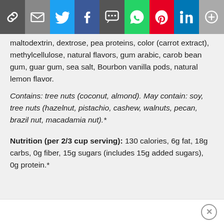[Figure (other): Social share bar with icons: link, email, Twitter, Facebook, SMS, WhatsApp, Pinterest, LinkedIn, more]
maltodextrin, dextrose, pea proteins, color (carrot extract), methylcellulose, natural flavors, gum arabic, carob bean gum, guar gum, sea salt, Bourbon vanilla pods, natural lemon flavor.
Contains: tree nuts (coconut, almond). May contain: soy, tree nuts (hazelnut, pistachio, cashew, walnuts, pecan, brazil nut, macadamia nut).*
Nutrition (per 2/3 cup serving): 130 calories, 6g fat, 18g carbs, 0g fiber, 15g sugars (includes 15g added sugars), 0g protein.*